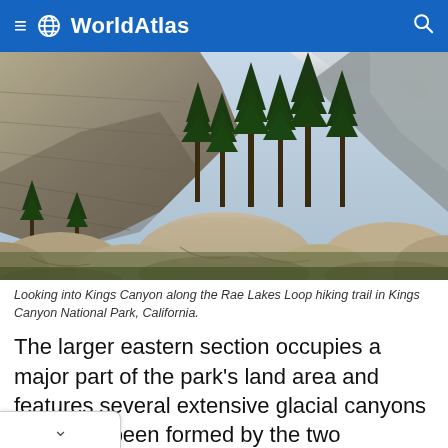WorldAtlas
[Figure (photo): Mountain canyon landscape with large granite boulders in foreground, tall evergreen trees in middle ground, and steep rocky canyon walls and snow-capped peaks in background. Kings Canyon National Park, California.]
Looking into Kings Canyon along the Rae Lakes Loop hiking trail in Kings Canyon National Park, California.
The larger eastern section occupies a major part of the park's land area and features several extensive glacial canyons that have been formed by the two tributaries of the Kings River – the Middle Fork Kings and South Fork Kings River. Located on the